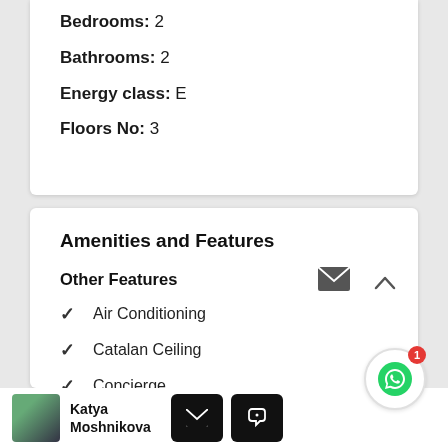Bedrooms: 2
Bathrooms: 2
Energy class: E
Floors No: 3
Amenities and Features
Other Features
Air Conditioning
Catalan Ceiling
Concierge
Katya Moshnikova